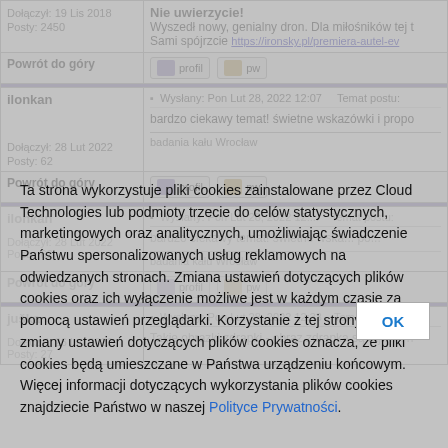| User | Post |
| --- | --- |
| Dołączył: 19 Lis 2018
Posty: 2450 | Nie uwierzycie!
Wyszedł nowy, genialny dron. Dla miłośników tej t...
Sami spójrzcie https://ironsky.pl/premiera-autel-ev... |
| Powrót do góry | [profil] [pw] |
| ilonkan
Dołączył: 28 Lut 2022
Posty: 62 | Wysłany: Pon Lut 28, 2022 12:07   Temat postu:
bardzo ciekawy temat! świetne wskazówki i propo...
badania kału Wrocław |
| Powrót do góry | [profil] [pw] |
| ilonkan
Dołączył: 28 Lut 2022
Posty: 62 | Wysłany: Pon Lut 28, 2022 12:...
bardzo ciekawy temat! świetne wska... po...
badania kału Wrocław |
| Powrót do góry | [profil] [pw] |
| juška
Dołączył: 26 Lut 2022
Posty: 27 | Wysłany: Pon Lut 28, 2022 12:33   Temat postu:
Takie obrazki zdrapki - obraz zdrapka są fajnym h... |
Ta strona wykorzystuje pliki cookies zainstalowane przez Cloud Technologies lub podmioty trzecie do celów statystycznych, marketingowych oraz analitycznych, umożliwiając świadczenie Państwu spersonalizowanych usług reklamowych na odwiedzanych stronach. Zmiana ustawień dotyczących plików cookies oraz ich wyłączenie możliwe jest w każdym czasie za pomocą ustawień przeglądarki. Korzystanie z tej strony bez zmiany ustawień dotyczących plików cookies oznacza, ze pliki cookies będą umieszczane w Państwa urządzeniu końcowym. Więcej informacji dotyczących wykorzystania plików cookies znajdziecie Państwo w naszej Polityce Prywatności.